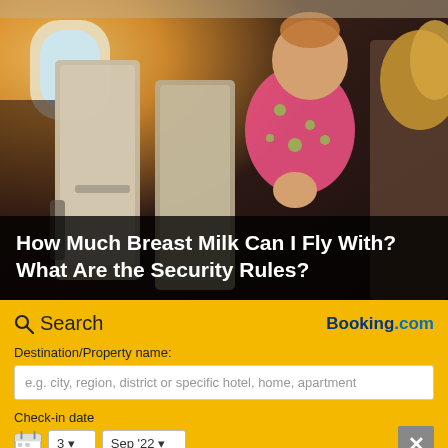[Figure (photo): Baby/toddler in pink polka dot outfit sitting on airplane seat next to a woman with blonde hair, viewed from the side, with golden sunlight coming through the airplane window]
How Much Breast Milk Can I Fly With? What Are the Security Rules?
Search
Booking.com
Destination/Property name:
e.g. city, region, district or specific hotel, home, apartment
Check-in date
3  Sep '22
Check-out date
4  Sep '22